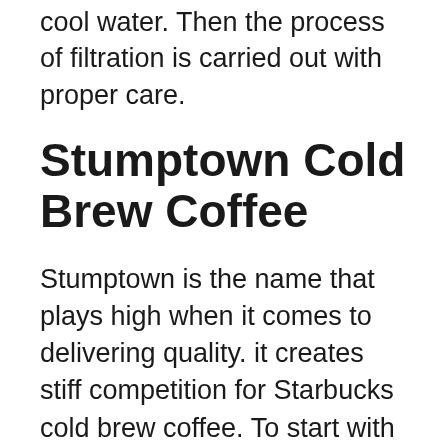cool water. Then the process of filtration is carried out with proper care.
Stumptown Cold Brew Coffee
Stumptown is the name that plays high when it comes to delivering quality. it creates stiff competition for Starbucks cold brew coffee. To start with the ground coffee is properly soaked in chilled water, and at the lowest suitable room temperature, after which coffee is filtered out as brewed coffee.
This cold-brewed drink is very compatible with a calorie-restricted diet.it has 26.57mg of caffeine per dose, has 2 calories in one